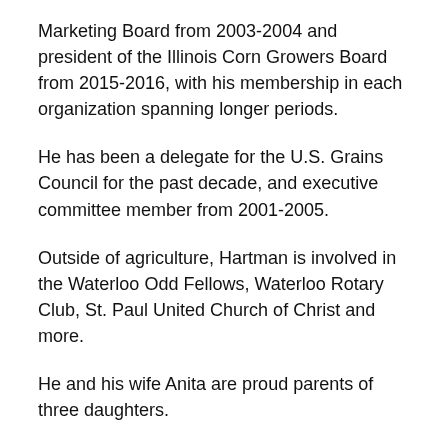Marketing Board from 2003-2004 and president of the Illinois Corn Growers Board from 2015-2016, with his membership in each organization spanning longer periods.
He has been a delegate for the U.S. Grains Council for the past decade, and executive committee member from 2001-2005.
Outside of agriculture, Hartman is involved in the Waterloo Odd Fellows, Waterloo Rotary Club, St. Paul United Church of Christ and more.
He and his wife Anita are proud parents of three daughters.
Emilie Eggemeyer Land
In high school, Eggemeyer Land not only excelled in softball